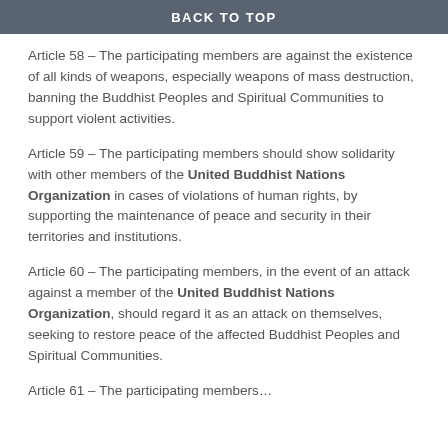BACK TO TOP
Article 58 – The participating members are against the existence of all kinds of weapons, especially weapons of mass destruction, banning the Buddhist Peoples and Spiritual Communities to support violent activities.
Article 59 – The participating members should show solidarity with other members of the United Buddhist Nations Organization in cases of violations of human rights, by supporting the maintenance of peace and security in their territories and institutions.
Article 60 – The participating members, in the event of an attack against a member of the United Buddhist Nations Organization, should regard it as an attack on themselves, seeking to restore peace of the affected Buddhist Peoples and Spiritual Communities.
Article 61 – The participating members…